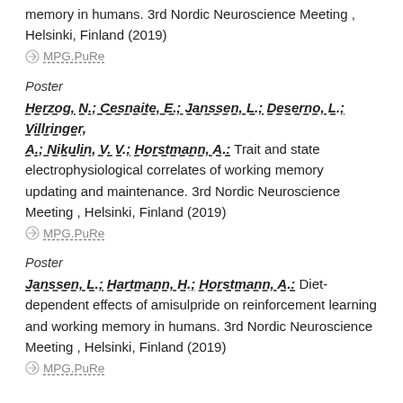memory in humans. 3rd Nordic Neuroscience Meeting , Helsinki, Finland (2019)
MPG.PuRe
Poster
Herzog, N.; Cesnaite, E.; Janssen, L.; Deserno, L.; Villringer, A.; Nikulin, V. V.; Horstmann, A.: Trait and state electrophysiological correlates of working memory updating and maintenance. 3rd Nordic Neuroscience Meeting , Helsinki, Finland (2019)
MPG.PuRe
Poster
Janssen, L.; Hartmann, H.; Horstmann, A.: Diet-dependent effects of amisulpride on reinforcement learning and working memory in humans. 3rd Nordic Neuroscience Meeting , Helsinki, Finland (2019)
MPG.PuRe